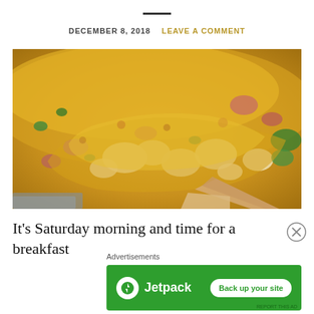DECEMBER 8, 2018  LEAVE A COMMENT
[Figure (photo): Close-up photo of a cheesy egg omelette with diced ham, onions, peppers, and herbs being scooped with a wooden spatula]
It's Saturday morning and time for a breakfast
Advertisements
[Figure (infographic): Jetpack advertisement banner with green background, Jetpack logo on left, and 'Back up your site' white button on right]